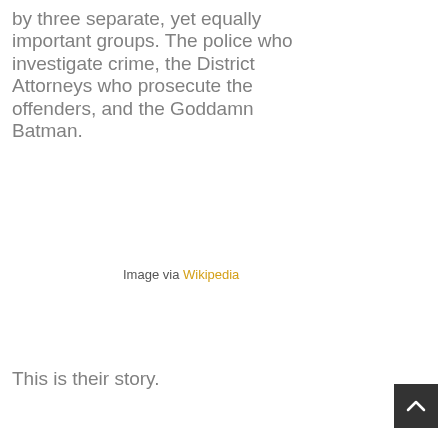by three separate, yet equally important groups. The police who investigate crime, the District Attorneys who prosecute the offenders, and the Goddamn Batman.
Image via Wikipedia
This is their story.